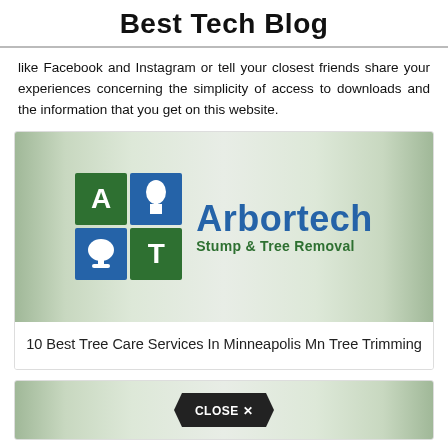Best Tech Blog
like Facebook and Instagram or tell your closest friends share your experiences concerning the simplicity of access to downloads and the information that you get on this website.
[Figure (logo): Arbortech Stump & Tree Removal logo with green and blue grid icon and company name]
10 Best Tree Care Services In Minneapolis Mn Tree Trimming
[Figure (screenshot): Bottom card preview with CLOSE X button overlay]